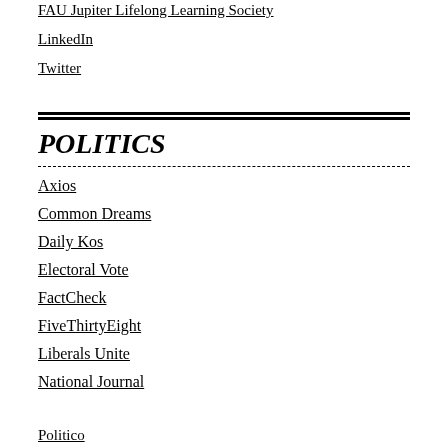FAU Jupiter Lifelong Learning Society
LinkedIn
Twitter
POLITICS
Axios
Common Dreams
Daily Kos
Electoral Vote
FactCheck
FiveThirtyEight
Liberals Unite
National Journal
Politico